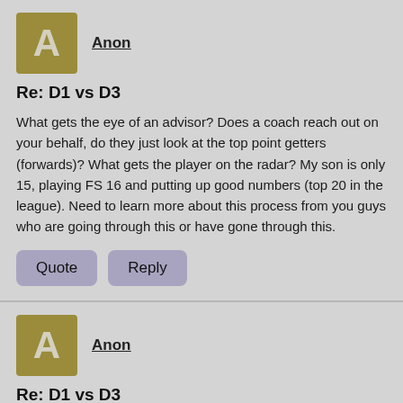[Figure (other): User avatar square with letter A in olive/gold color]
Anon
Re: D1 vs D3
What gets the eye of an advisor? Does a coach reach out on your behalf, do they just look at the top point getters (forwards)? What gets the player on the radar? My son is only 15, playing FS 16 and putting up good numbers (top 20 in the league). Need to learn more about this process from you guys who are going through this or have gone through this.
Quote   Reply
[Figure (other): User avatar square with letter A in olive/gold color]
Anon
Re: D1 vs D3
Anon (quoted)